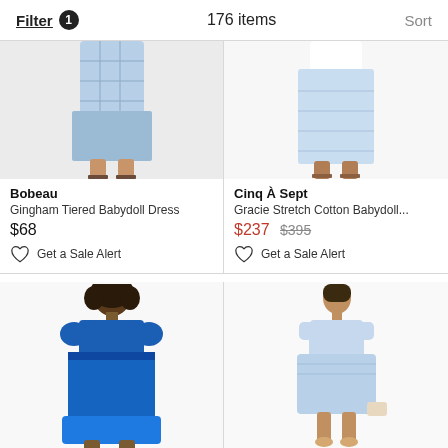Filter 1   176 items   Sort
[Figure (photo): Model wearing Bobeau Gingham Tiered Babydoll Dress, cropped at waist down]
Bobeau
Gingham Tiered Babydoll Dress
$68
Get a Sale Alert
[Figure (photo): Model wearing Cinq A Sept Gracie Stretch Cotton Babydoll dress in light blue, cropped at waist down]
Cinq À Sept
Gracie Stretch Cotton Babydoll...
$237 $395
Get a Sale Alert
[Figure (photo): Model wearing a royal blue babydoll dress with puff sleeves, full body view]
[Figure (photo): Model wearing a light blue short babydoll dress, full body view]